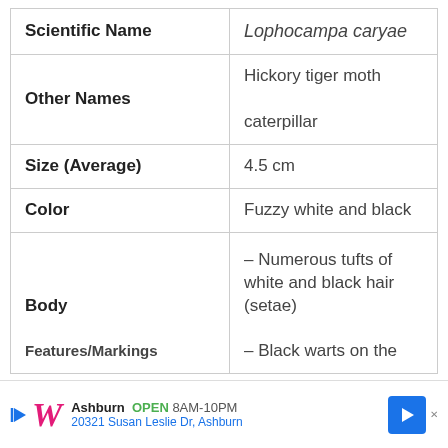|  |  |
| --- | --- |
| Scientific Name | Lophocampa caryae |
| Other Names | Hickory tiger moth caterpillar |
| Size (Average) | 4.5 cm |
| Color | Fuzzy white and black |
| Body / Features/Markings | – Numerous tufts of white and black hair (setae)
– Black warts on the |
[Figure (infographic): Walgreens advertisement banner: logo, Ashburn OPEN 8AM-10PM, 20321 Susan Leslie Dr, Ashburn, navigation arrow icon]